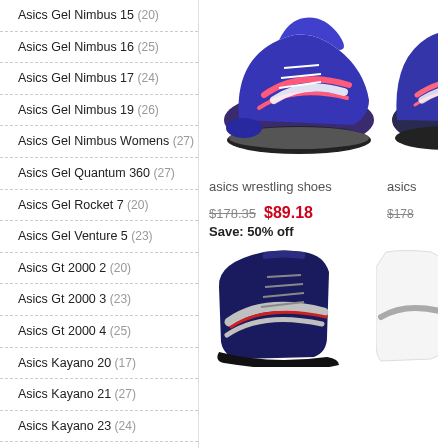Asics Gel Nimbus 15 (20)
Asics Gel Nimbus 16 (25)
Asics Gel Nimbus 17 (24)
Asics Gel Nimbus 19 (26)
Asics Gel Nimbus Womens (27)
Asics Gel Quantum 360 (27)
Asics Gel Rocket 7 (20)
Asics Gel Venture 5 (23)
Asics Gt 2000 2 (20)
Asics Gt 2000 3 (23)
Asics Gt 2000 4 (25)
Asics Kayano 20 (17)
Asics Kayano 21 (27)
Asics Kayano 23 (24)
Asics Kayano 24 (22)
Asics Mens Running Shoes (27)
[Figure (photo): Blue and pink Asics wrestling shoe]
asics wrestling shoes
$178.35  $89.18  Save: 50% off
[Figure (photo): Navy blue and red Asics high-top wrestling shoe]